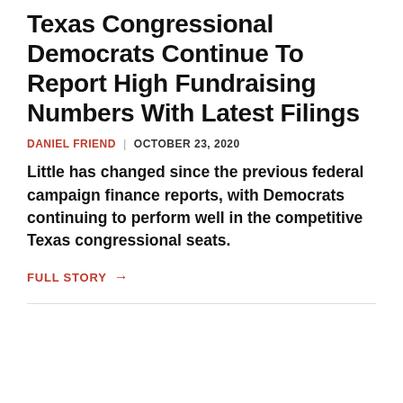Texas Congressional Democrats Continue To Report High Fundraising Numbers With Latest Filings
DANIEL FRIEND | OCTOBER 23, 2020
Little has changed since the previous federal campaign finance reports, with Democrats continuing to perform well in the competitive Texas congressional seats.
FULL STORY →